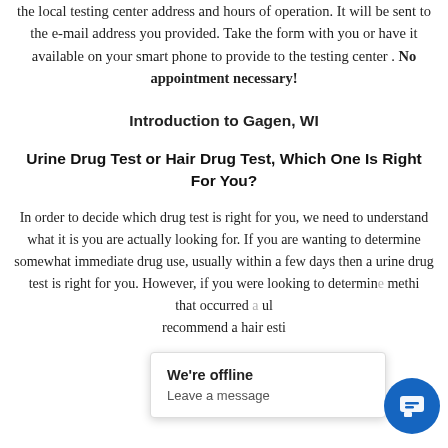the local testing center address and hours of operation. It will be sent to the e-mail address you provided. Take the form with you or have it available on your smart phone to provide to the testing center. No appointment necessary!
Introduction to Gagen, WI
Urine Drug Test or Hair Drug Test, Which One Is Right For You?
In order to decide which drug test is right for you, we need to understand what it is you are actually looking for. If you are wanting to determine somewhat immediate drug use, usually within a few days then a urine drug test is right for you. However, if you were looking to determin[e] … [something] that occurred a[go] … [it] would … recommend a hair … [drug] testing